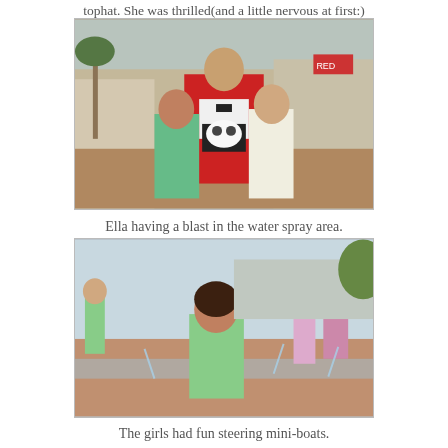tophat. She was thrilled(and a little nervous at first:)
[Figure (photo): A man in a red jacket and bow tie standing with two young girls holding a stuffed panda in a tophat, outdoors at what appears to be a shopping/entertainment area.]
Ella having a blast in the water spray area.
[Figure (photo): A young girl smiling and running through a water spray park area, with other children in the background playing in the water.]
The girls had fun steering mini-boats.